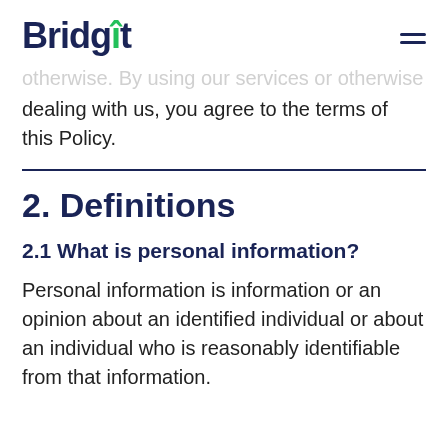Bridgit
otherwise. By using our services or otherwise dealing with us, you agree to the terms of this Policy.
2. Definitions
2.1 What is personal information?
Personal information is information or an opinion about an identified individual or about an individual who is reasonably identifiable from that information.